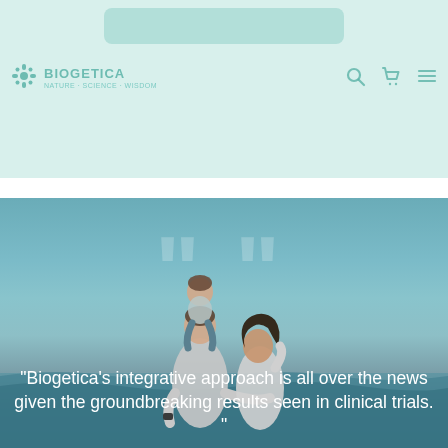[Figure (screenshot): Biogetica website header with light teal/mint background, navigation bar showing Biogetica logo with snowflake-like icon, search bar, cart and menu icons]
[Figure (photo): Family photo taken from behind showing a man and woman at a beach, with a young child sitting on the man's shoulders. Large quotation mark watermark overlay. White text quote reads: "Biogetica's integrative approach is all over the news given the groundbreaking results seen in clinical trials."]
“Biogetica’s integrative approach is all over the news given the groundbreaking results seen in clinical trials.”